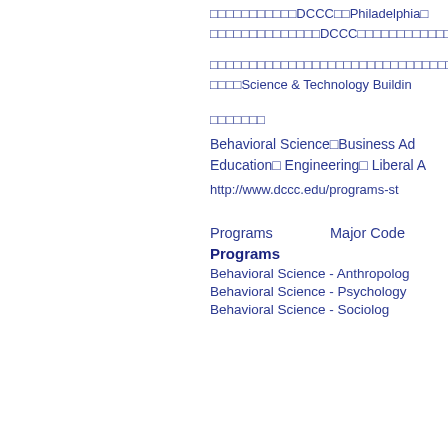□□□□□□□□□□□DCCC□□Philadelphia□□□□□□□□□□□□□□□□DCCC□□□□□□□□□□□□□□
□□□□□□□□□□□□□□□□□□□□□□□□□□□□□□□□□□□□□□□□□□□□□□□□Science & Technology Building□
□□□□□□□
Behavioral Science□Business Ad□□□□□□□□Education□ Engineering□ Liberal A□□□
http://www.dccc.edu/programs-st
| Programs | Major Code |
| --- | --- |
| Programs |  |
| Behavioral Science - Anthropolog |  |
| Behavioral Science - Psychology |  |
| Behavioral Science - Sociology |  |